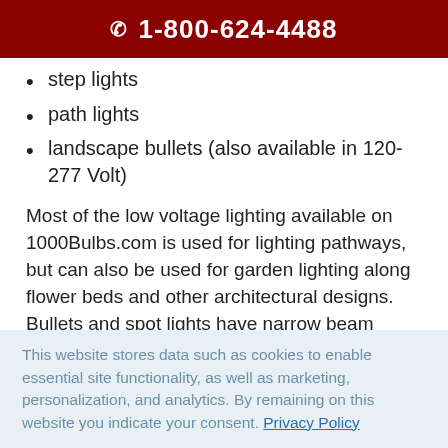1-800-624-4488
step lights
path lights
landscape bullets (also available in 120-277 Volt)
Most of the low voltage lighting available on 1000Bulbs.com is used for lighting pathways, but can also be used for garden lighting along flower beds and other architectural designs. Bullets and spot lights have narrow beam angles used to light up focal points. They can be installed in the ground to uplight statues, fountains, flag poles, trees, or your company logo. By using more than one bullet and crossing beams, you can reduce or eliminate shadows to really highlight objects and
This website stores data such as cookies to enable essential site functionality, as well as marketing, personalization, and analytics. By remaining on this website you indicate your consent. Privacy Policy